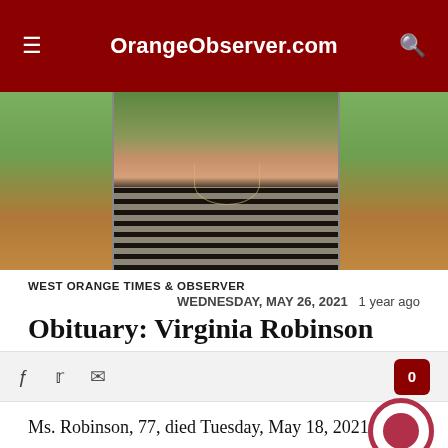OrangeObserver.com
[Figure (photo): Partial photo of Virginia Robinson, showing neck and striped shirt with green outdoor background]
WEST ORANGE TIMES & OBSERVER
WEDNESDAY, MAY 26, 2021    1 year ago
Obituary: Virginia Robinson
Ms. Robinson, 77, died Tuesday, May 18, 2021.
by: Amy Quesinberry | Community Editor